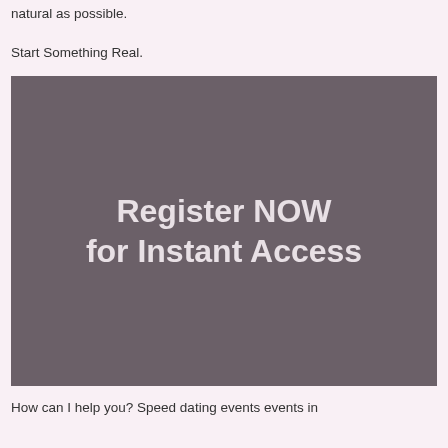natural as possible.
Start Something Real.
[Figure (illustration): Dark grey/mauve rectangular banner with large white bold text reading 'Register NOW for Instant Access']
How can I help you? Speed dating events events in